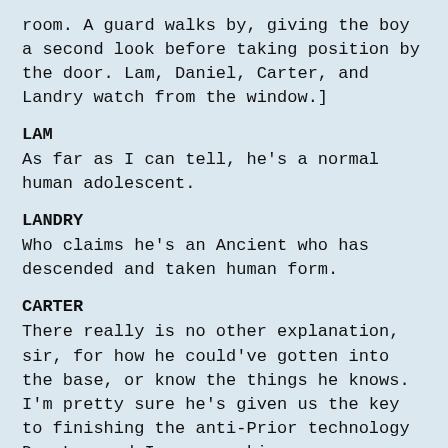room. A guard walks by, giving the boy a second look before taking position by the door. Lam, Daniel, Carter, and Landry watch from the window.]
LAM
As far as I can tell, he's a normal human adolescent.
LANDRY
Who claims he's an Ancient who has descended and taken human form.
CARTER
There really is no other explanation, sir, for how he could've gotten into the base, or know the things he knows. I'm pretty sure he's given us the key to finishing the anti-Prior technology Dr. Lee and I were working on.
LANDRY
According to the mission report on your first encounter with Orlin, you two...had a...intimate relationship?